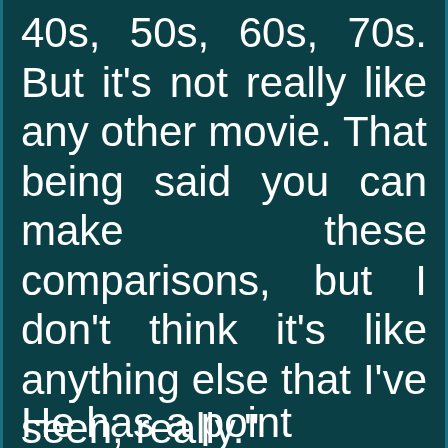40s, 50s, 60s, 70s. But it's not really like any other movie. That being said you can make these comparisons, but I don't think it's like anything else that I've seen, really."
He has a point